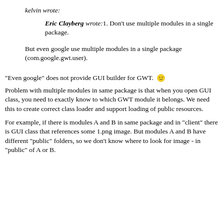kelvin wrote:
Eric Clayberg wrote:1. Don't use multiple modules in a single package.
But even google use multiple modules in a single package (com.google.gwt.user).
"Even google" does not provide GUI builder for GWT. 🙂
Problem with multiple modules in same package is that when you open GUI class, you need to exactly know to which GWT module it belongs. We need this to create correct class loader and support loading of public resources.
For example, if there is modules A and B in same package and in "client" there is GUI class that references some 1.png image. But modules A and B have different "public" folders, so we don't know where to look for image - in "public" of A or B.